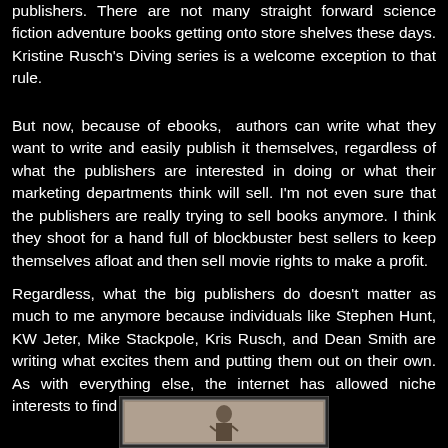publishers. There are not many straight forward science fiction adventure books getting onto store shelves these days. Kristine Rusch's Diving series is a welcome exception to that rule.
But now, because of ebooks,  authors can write what they want to write and easily publish it themselves, regardless of what the publishers are interested in doing or what their marketing departments think will sell. I'm not even sure that the publishers are really trying to sell books anymore. I think they shoot for a hand full of blockbuster best sellers to keep themselves afloat and then sell movie rights to make a profit.
Regardless, what the big publishers do doesn't matter as much to me anymore because individuals like Stephen Hunt, KW Jeter, Mike Stackpole, Kris Rusch, and Dean Smith are writing what excites them and putting them out on their own. As with everything else, the internet has allowed niche interests to find their audience.
[Figure (photo): A partial image of what appears to be a book cover or illustration, visible at the bottom of the page.]